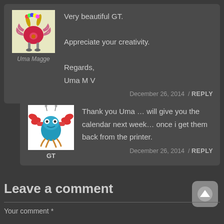[Figure (illustration): Avatar image of Uma Magge - cartoon monster creature with pink/red body and antlers on yellow background]
Uma Magge
Very beautiful GT.

Appreciate your creativity.

Regards,
Uma M V
December 26, 2014  /  REPLY
[Figure (illustration): Avatar image of GT - cartoon blue lobster/crab creature on white background]
GT
Thank you Uma … will give you the calendar next week… once i get them back from the printer.
December 26, 2014  /  REPLY
Leave a comment
Your comment *